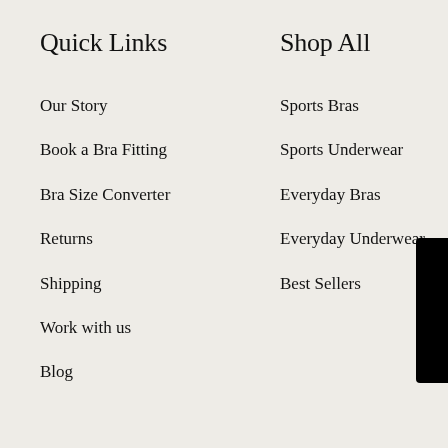Quick Links
Our Story
Book a Bra Fitting
Bra Size Converter
Returns
Shipping
Work with us
Blog
Shop All
Sports Bras
Sports Underwear
Everyday Bras
Everyday Underwear
Best Sellers
Shop by Size